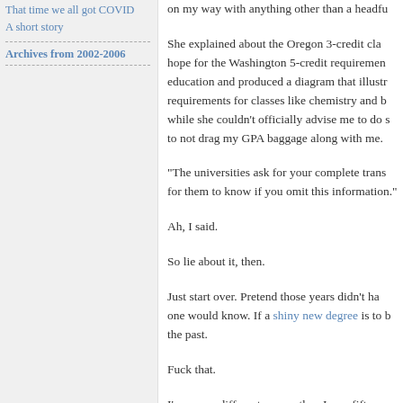That time we all got COVID
A short story
Archives from 2002-2006
on my way with anything other than a headfu
She explained about the Oregon 3-credit cla... hope for the Washington 5-credit requiremen... education and produced a diagram that illustr... requirements for classes like chemistry and b... while she couldn't officially advise me to do s... to not drag my GPA baggage along with me.
"The universities ask for your complete trans... for them to know if you omit this information."
Ah, I said.
So lie about it, then.
Just start over. Pretend those years didn't ha... one would know. If a shiny new degree is to b... the past.
Fuck that.
I'm a very different person than I was fifteen y... today. Every bad choice I made led me, in so... and overwhelmed by all the challenges, but